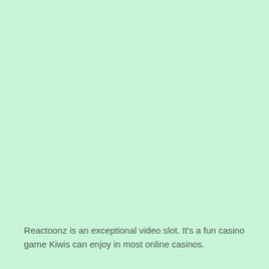Reactoonz is an exceptional video slot. It's a fun casino game Kiwis can enjoy in most online casinos.